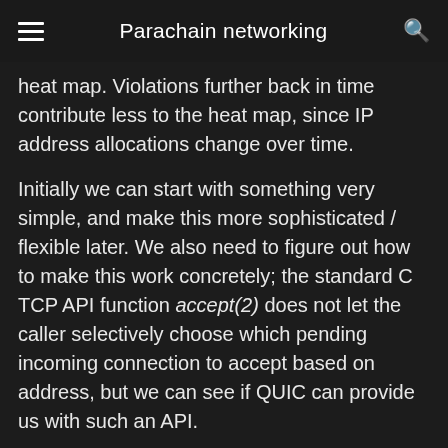Parachain networking
heat map. Violations further back in time contribute less to the heat map, since IP address allocations change over time.
Initially we can start with something very simple, and make this more sophisticated / flexible later. We also need to figure out how to make this work concretely; the standard C TCP API function accept(2) does not let the caller selectively choose which pending incoming connection to accept based on address, but we can see if QUIC can provide us with such an API.
The security justification is heuristic - an attacker is likely to control a clustered set of IP addresses, rather than being evenly distributed across the [v: latest] address space. Of course it also pollutes genuine users operating under similar IP addresses; however if